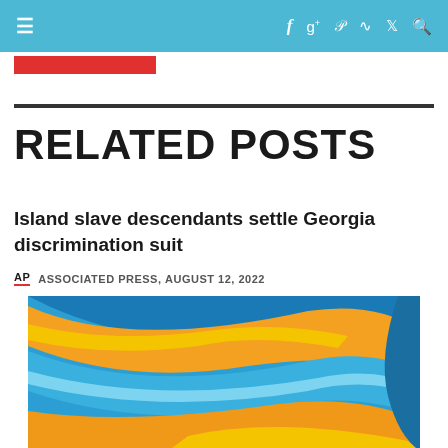≡  f  g+  p  RSS  Twitter  Search
RELATED POSTS
Island slave descendants settle Georgia discrimination suit
AP  ASSOCIATED PRESS, AUGUST 12, 2022
[Figure (illustration): Abstract colorful wave design with blue and orange/yellow flowing shapes on a white background]